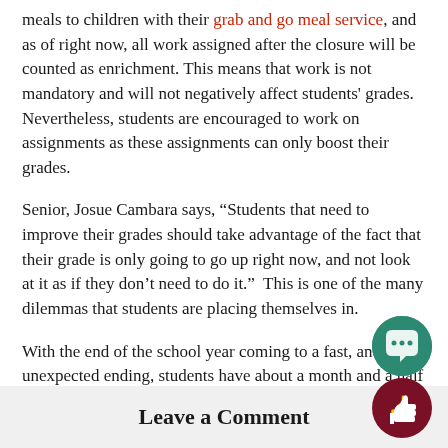meals to children with their grab and go meal service, and as of right now, all work assigned after the closure will be counted as enrichment. This means that work is not mandatory and will not negatively affect students' grades. Nevertheless, students are encouraged to work on assignments as these assignments can only boost their grades.
Senior, Josue Cambara says, “Students that need to improve their grades should take advantage of the fact that their grade is only going to go up right now, and not look at it as if they don’t need to do it.”  This is one of the many dilemmas that students are placing themselves in.
With the end of the school year coming to a fast, and unexpected ending, students have about a month and a half to try their best to finish the year strong.
Leave a Comment